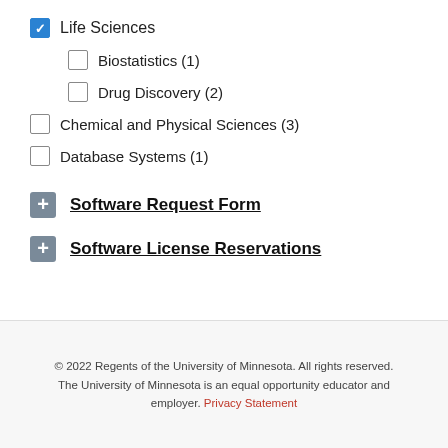Life Sciences (checked)
Biostatistics (1)
Drug Discovery (2)
Chemical and Physical Sciences (3)
Database Systems (1)
Software Request Form
Software License Reservations
© 2022 Regents of the University of Minnesota. All rights reserved. The University of Minnesota is an equal opportunity educator and employer. Privacy Statement